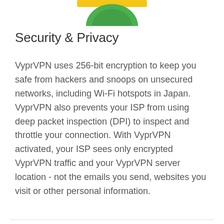[Figure (logo): Partial logo visible at top of page, green and yellow circular badge shape, cropped at top edge]
Security & Privacy
VyprVPN uses 256-bit encryption to keep you safe from hackers and snoops on unsecured networks, including Wi-Fi hotspots in Japan. VyprVPN also prevents your ISP from using deep packet inspection (DPI) to inspect and throttle your connection. With VyprVPN activated, your ISP sees only encrypted VyprVPN traffic and your VyprVPN server location - not the emails you send, websites you visit or other personal information.